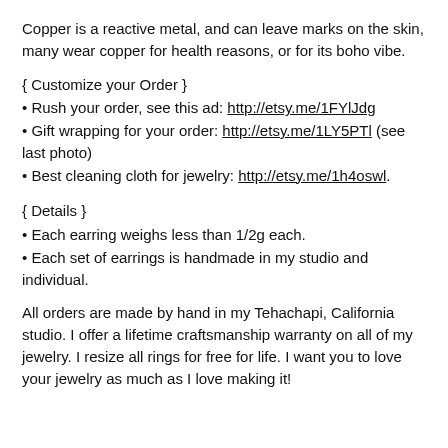Copper is a reactive metal, and can leave marks on the skin, many wear copper for health reasons, or for its boho vibe.
{ Customize your Order }
• Rush your order, see this ad: http://etsy.me/1FYlJdg
• Gift wrapping for your order: http://etsy.me/1LY5PTl (see last photo)
• Best cleaning cloth for jewelry: http://etsy.me/1h4oswl.
{ Details }
• Each earring weighs less than 1/2g each.
• Each set of earrings is handmade in my studio and individual.
All orders are made by hand in my Tehachapi, California studio. I offer a lifetime craftsmanship warranty on all of my jewelry. I resize all rings for free for life. I want you to love your jewelry as much as I love making it!